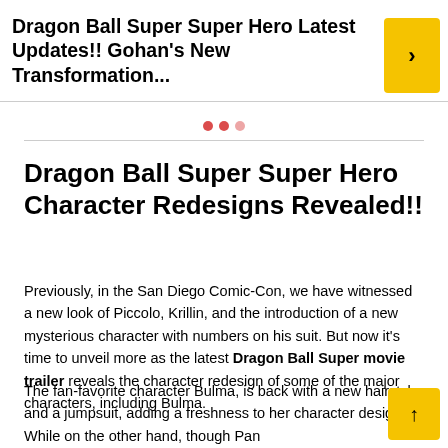Dragon Ball Super Super Hero Latest Updates!! Gohan's New Transformation...
Dragon Ball Super Super Hero Character Redesigns Revealed!!
Previously, in the San Diego Comic-Con, we have witnessed a new look of Piccolo, Krillin, and the introduction of a new mysterious character with numbers on his suit. But now it's time to unveil more as the latest Dragon Ball Super movie trailer reveals the character redesign of some of the major characters, including Bulma.
The fan-favorite character Bulma, is back with a new hairstyle and a jumpsuit, adding a freshness to her character design. While on the other hand, though Pan